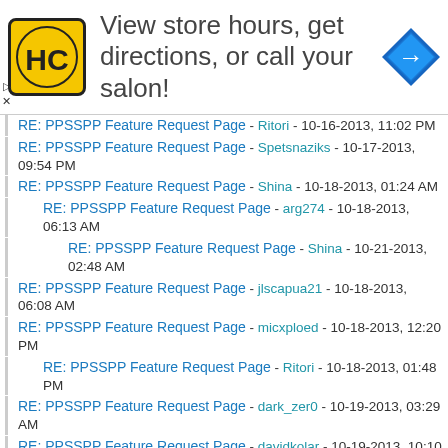[Figure (advertisement): HC salon advertisement banner with logo, text 'View store hours, get directions, or call your salon!', and directions icon]
RE: PPSSPP Feature Request Page - Ritori - 10-16-2013, 11:02 PM
RE: PPSSPP Feature Request Page - Spetsnaziks - 10-17-2013, 09:54 PM
RE: PPSSPP Feature Request Page - Shina - 10-18-2013, 01:24 AM
RE: PPSSPP Feature Request Page - arg274 - 10-18-2013, 06:13 AM
RE: PPSSPP Feature Request Page - Shina - 10-21-2013, 02:48 AM
RE: PPSSPP Feature Request Page - jlscapua21 - 10-18-2013, 06:08 AM
RE: PPSSPP Feature Request Page - micxploed - 10-18-2013, 12:20 PM
RE: PPSSPP Feature Request Page - Ritori - 10-18-2013, 01:48 PM
RE: PPSSPP Feature Request Page - dark_zer0 - 10-19-2013, 03:29 AM
RE: PPSSPP Feature Request Page - davidkolar - 10-19-2013, 10:10 PM
RE: PPSSPP Feature Request Page - TheDax - 10-19-2013, 10:20 PM
RE: PPSSPP Feature Request Page - the end - 10-20-2013, 06:32 AM
RE: PPSSPP Feature Request Page - dark_zer0 - 10-22-2013